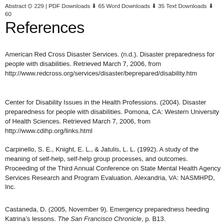Abstract ⊙ 229 | PDF Downloads ⬇ 65 Word Downloads ⬇ 35 Text Downloads ⬇ 60
References
American Red Cross Disaster Services. (n.d.). Disaster preparedness for people with disabilities. Retrieved March 7, 2006, from http://www.redcross.org/services/disaster/beprepared/disability.htm
Center for Disability Issues in the Health Professions. (2004). Disaster preparedness for people with disabilities. Pomona, CA: Western University of Health Sciences. Retrieved March 7, 2006, from http://www.cdihp.org/links.html
Carpinello, S. E., Knight, E. L., & Jatulis, L. L. (1992). A study of the meaning of self-help, self-help group processes, and outcomes. Proceeding of the Third Annual Conference on State Mental Health Agency Services Research and Program Evaluation. Alexandria, VA: NASMHPD, Inc.
Castaneda, D. (2005, November 9). Emergency preparedness heeding Katrina's lessons. The San Francisco Chronicle, p. B13.